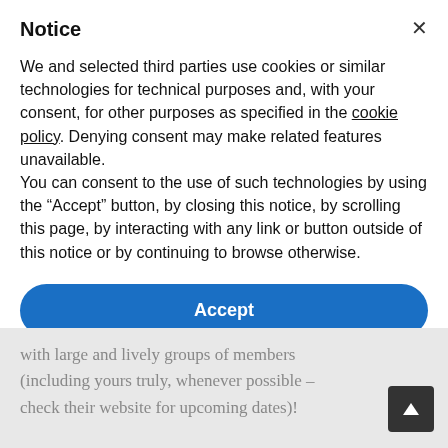Notice
We and selected third parties use cookies or similar technologies for technical purposes and, with your consent, for other purposes as specified in the cookie policy. Denying consent may make related features unavailable.
You can consent to the use of such technologies by using the “Accept” button, by closing this notice, by scrolling this page, by interacting with any link or button outside of this notice or by continuing to browse otherwise.
Accept
Learn more and customize
with large and lively groups of members (including yours truly, whenever possible – check their website for upcoming dates)!